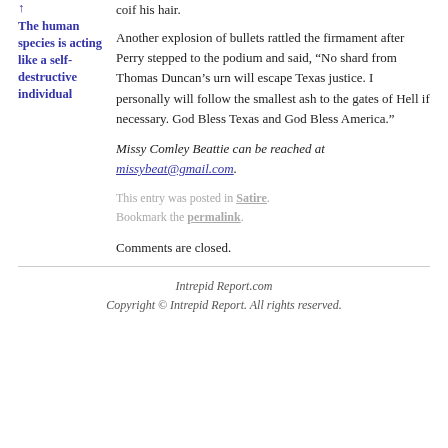The human species is acting like a self-destructive individual
coif his hair.
Another explosion of bullets rattled the firmament after Perry stepped to the podium and said, “No shard from Thomas Duncan’s urn will escape Texas justice. I personally will follow the smallest ash to the gates of Hell if necessary. God Bless Texas and God Bless America.”
Missy Comley Beattie can be reached at missybeat@gmail.com.
This entry was posted in Satire. Bookmark the permalink.
Comments are closed.
Intrepid Report.com
Copyright © Intrepid Report. All rights reserved.